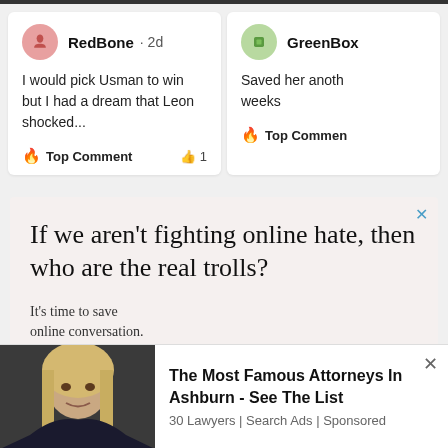[Figure (screenshot): Comment card for user RedBone posted 2d ago saying 'I would pick Usman to win but I had a dream that Leon shocked...' with Top Comment label and 1 like]
[Figure (screenshot): Partial comment card for user GreenBox saying 'Saved her anoth... weeks' with Top Comment label, partially cropped on the right]
[Figure (screenshot): Advertisement banner with pinkish background. Headline: 'If we aren't fighting online hate, then who are the real trolls?' Subtext: 'It's time to save online conversation.' with a blue X close button.]
[Figure (screenshot): Bottom advertisement bar showing a blonde woman photo on the left and text: 'The Most Famous Attorneys In Ashburn - See The List' with '30 Lawyers | Search Ads | Sponsored' and an X close button.]